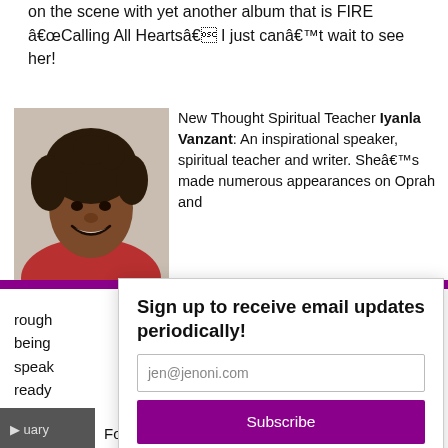on the scene with yet another album that is FIRE â€œCalling All Heartsâ€ I just canâ€™t wait to see her!
[Figure (photo): Headshot of Iyanla Vanzant, a smiling woman with curly hair, wearing red.]
New Thought Spiritual Teacher Iyanla Vanzant: An inspirational speaker, spiritual teacher and writer. Sheâ€™s made numerous appearances on Oprah and
rough being speak ready
Sign up to receive email updates periodically!
jen@jenoni.com
Subscribe
[Figure (photo): Partial thumbnail photo of a person at the bottom left.]
Former Model Turned Actor